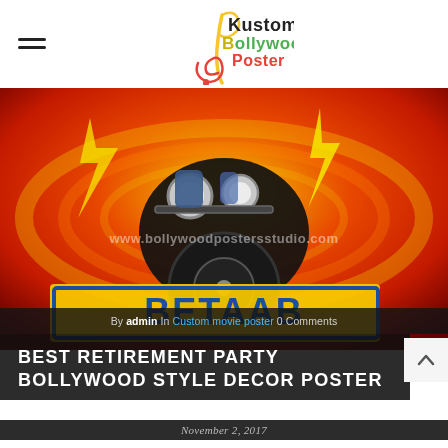Kustom Bollywood Poster
[Figure (photo): Bollywood-style movie poster painting showing a motorcycle with rider seen from front, large yellow/blue text, dramatic swirling red and yellow background, watermark www.bollywoodpostersstudio.com]
By admin In Custom movie poster 0 Comments
BEST RETIREMENT PARTY BOLLYWOOD STYLE DECOR POSTER
November 2, 2017